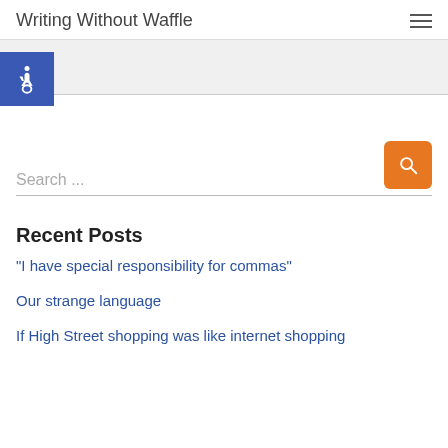Writing Without Waffle
[Figure (logo): Blue square accessibility icon with white wheelchair symbol]
Search ...
Recent Posts
“I have special responsibility for commas”
Our strange language
If High Street shopping was like internet shopping